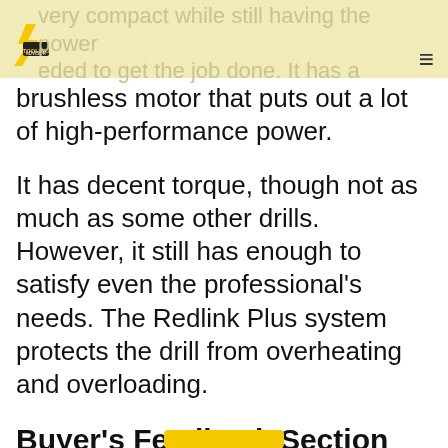very compact while still having the power needed to get the job done. It has a
brushless motor that puts out a lot of high-performance power.
It has decent torque, though not as much as some other drills. However, it still has enough to satisfy even the professional's needs. The Redlink Plus system protects the drill from overheating and overloading.
Buyer's Feedback Section
Last updated: November 26, 2021